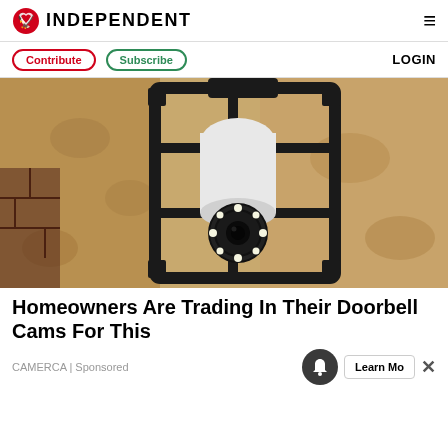INDEPENDENT
Contribute | Subscribe | LOGIN
[Figure (photo): A security camera shaped like a light bulb installed in a black outdoor wall lantern fixture, mounted on a textured stucco wall]
Homeowners Are Trading In Their Doorbell Cams For This
CAMERCA | Sponsored